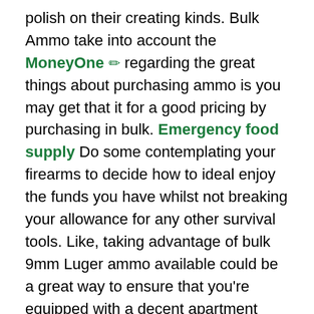polish on their creating kinds. Bulk Ammo take into account the MoneyOne ✏ regarding the great things about purchasing ammo is you may get that it for a good pricing by purchasing in bulk. Emergency food supply Do some contemplating your firearms to decide how to ideal enjoy the funds you have whilst not breaking your allowance for any other survival tools. Like, taking advantage of bulk 9mm Luger ammo available could be a great way to ensure that you're equipped with a decent apartment defense tool. You Will want to allocate a few of your cash to ammunition for hunting firearms.
take time to go around your home while making sure that none for the caulk on the timber cut around on your external windows and doors is cracking which